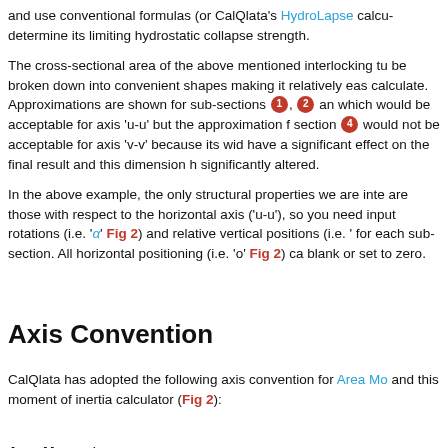and use conventional formulas (or CalQlata's HydroLapse calcu... determine its limiting hydrostatic collapse strength.
The cross-sectional area of the above mentioned interlocking tu... be broken down into convenient shapes making it relatively eas... calculate. Approximations are shown for sub-sections ❶, ❷ an... which would be acceptable for axis 'u-u' but the approximation f... section ❹ would not be acceptable for axis 'v-v' because its wid... have a significant effect on the final result and this dimension h... significantly altered.
In the above example, the only structural properties we are inte... are those with respect to the horizontal axis ('u-u'), so you need... input rotations (i.e. 'α' Fig 2) and relative vertical positions (i.e. '... for each sub-section. All horizontal positioning (i.e. 'o' Fig 2) ca... blank or set to zero.
Axis Convention
CalQlata has adopted the following axis convention for Area Mo... and this moment of inertia calculator (Fig 2):
Area Moments
1.1 is the